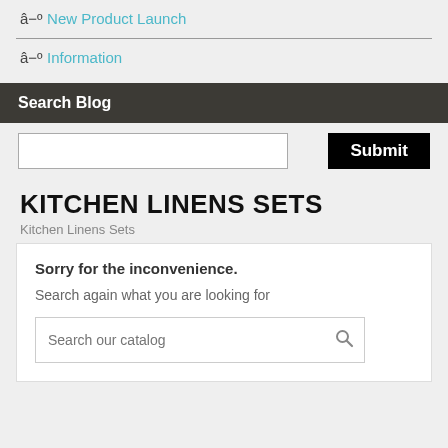â−º New Product Launch
â−º Information
Search Blog
[Search input field] [Submit button]
KITCHEN LINENS SETS
Kitchen Linens Sets
Sorry for the inconvenience.
Search again what you are looking for
Search our catalog [search icon]